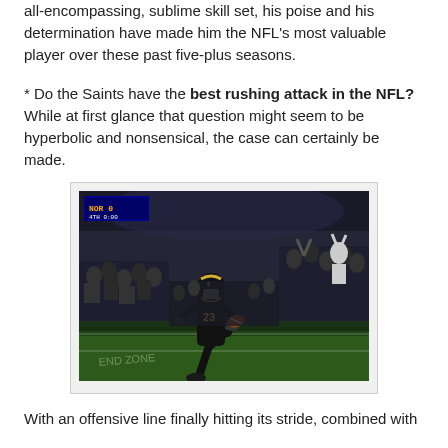all-encompassing, sublime skill set, his poise and his determination have made him the NFL's most valuable player over these past five-plus seasons.
* Do the Saints have the best rushing attack in the NFL? While at first glance that question might seem to be hyperbolic and nonsensical, the case can certainly be made.
[Figure (photo): A New Orleans Saints player wearing jersey number 23 in black uniform running on the football field with a crowd in the background]
With an offensive line finally hitting its stride, combined with